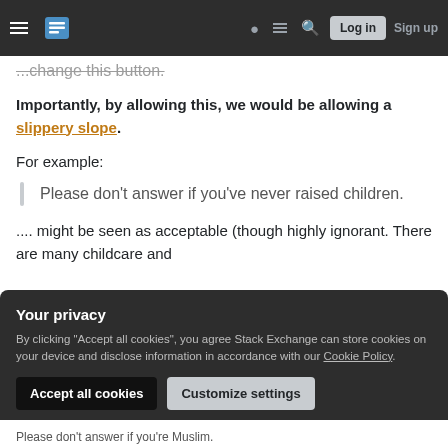Stack Exchange navigation bar with Log in and Sign up buttons
...change this button.
Importantly, by allowing this, we would be allowing a slippery slope.
For example:
Please don't answer if you've never raised children.
.... might be seen as acceptable (though highly ignorant. There are many childcare and
Your privacy
By clicking "Accept all cookies", you agree Stack Exchange can store cookies on your device and disclose information in accordance with our Cookie Policy.
Accept all cookies
Customize settings
Please don't answer if you're Muslim.